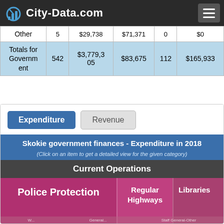City-Data.com
|  |  |  |  |  |  |
| --- | --- | --- | --- | --- | --- |
| Other | 5 | $29,738 | $71,371 | 0 | $0 |
| Totals for Government | 542 | $3,779,305 | $83,675 | 112 | $165,933 |
Expenditure | Revenue
Skokie government finances - Expenditure in 2018
(Click on an item to get a detailed view for the given category)
Current Operations
[Figure (infographic): Treemap showing Skokie government expenditure categories: Police Protection (large pink tile), Regular Highways (medium pink tile), Libraries (smaller pink tile with scroll-up button)]